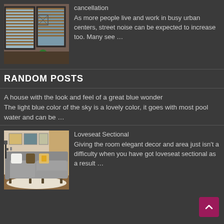[Figure (photo): Interior room photo showing windows with wooden blinds, a brick wall, dark window frames, and a green plant]
cancellation
As more people live and work in busy urban centers, street noise can be expected to increase too. Many see …
RANDOM POSTS
A house with the look and feel of a great blue wonder
The light blue color of the sky is a lovely color, it goes with most pool water and can be …
[Figure (photo): Interior living room photo showing a gray sectional sofa with white, brown, and orange/yellow pillows on a light rug]
Loveseat Sectional
Giving the room elegant decor and area just isn't a difficulty when you have got loveseat sectional as a result …